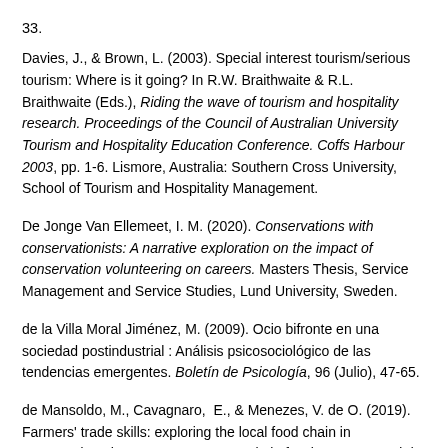33.
Davies, J., & Brown, L. (2003). Special interest tourism/serious tourism: Where is it going? In R.W. Braithwaite & R.L. Braithwaite (Eds.), Riding the wave of tourism and hospitality research. Proceedings of the Council of Australian University Tourism and Hospitality Education Conference. Coffs Harbour 2003, pp. 1-6. Lismore, Australia: Southern Cross University, School of Tourism and Hospitality Management.
De Jonge Van Ellemeet, I. M. (2020). Conservations with conservationists: A narrative exploration on the impact of conservation volunteering on careers. Masters Thesis, Service Management and Service Studies, Lund University, Sweden.
de la Villa Moral Jiménez, M. (2009). Ocio bifronte en una sociedad postindustrial : Análisis psicosociológico de las tendencias emergentes. Boletín de Psicología, 96 (Julio), 47-65.
de Mansoldo, M., Cavagnaro, E., & Menezes, V. de O. (2019). Farmers' trade skills: exploring the local food chain in Leeuwarden, the 2018 European Capital of Culture. Research in Hospitality Management, 9(1), 55...